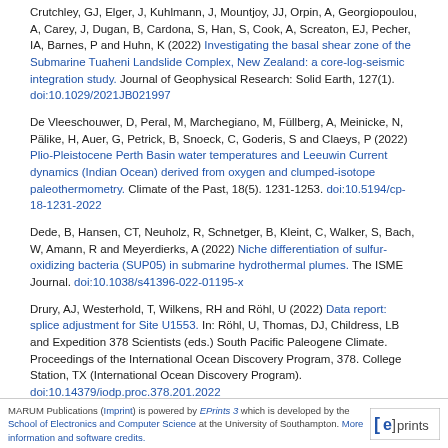Crutchley, GJ, Elger, J, Kuhlmann, J, Mountjoy, JJ, Orpin, A, Georgiopoulou, A, Carey, J, Dugan, B, Cardona, S, Han, S, Cook, A, Screaton, EJ, Pecher, IA, Barnes, P and Huhn, K (2022) Investigating the basal shear zone of the Submarine Tuaheni Landslide Complex, New Zealand: a core-log-seismic integration study. Journal of Geophysical Research: Solid Earth, 127(1). doi:10.1029/2021JB021997
De Vleeschouwer, D, Peral, M, Marchegiano, M, Füllberg, A, Meinicke, N, Pälike, H, Auer, G, Petrick, B, Snoeck, C, Goderis, S and Claeys, P (2022) Plio-Pleistocene Perth Basin water temperatures and Leeuwin Current dynamics (Indian Ocean) derived from oxygen and clumped-isotope paleothermometry. Climate of the Past, 18(5). 1231-1253. doi:10.5194/cp-18-1231-2022
Dede, B, Hansen, CT, Neuholz, R, Schnetger, B, Kleint, C, Walker, S, Bach, W, Amann, R and Meyerdierks, A (2022) Niche differentiation of sulfur-oxidizing bacteria (SUP05) in submarine hydrothermal plumes. The ISME Journal. doi:10.1038/s41396-022-01195-x
Drury, AJ, Westerhold, T, Wilkens, RH and Röhl, U (2022) Data report: splice adjustment for Site U1553. In: Röhl, U, Thomas, DJ, Childress, LB and Expedition 378 Scientists (eds.) South Pacific Paleogene Climate. Proceedings of the International Ocean Discovery Program, 378. College Station, TX (International Ocean Discovery Program). doi:10.14379/iodp.proc.378.201.2022
MARUM Publications (Imprint) is powered by EPrints 3 which is developed by the School of Electronics and Computer Science at the University of Southampton. More information and software credits.